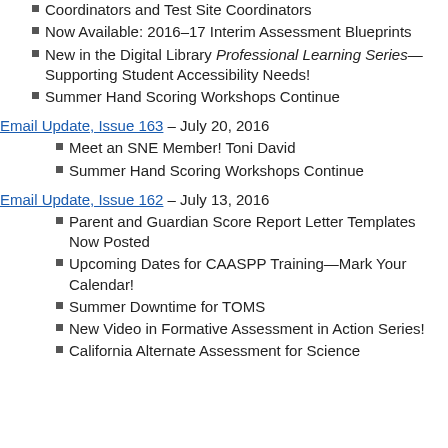Coordinators and Test Site Coordinators
Now Available: 2016–17 Interim Assessment Blueprints
New in the Digital Library Professional Learning Series—Supporting Student Accessibility Needs!
Summer Hand Scoring Workshops Continue
Email Update, Issue 163 – July 20, 2016
Meet an SNE Member! Toni David
Summer Hand Scoring Workshops Continue
Email Update, Issue 162 – July 13, 2016
Parent and Guardian Score Report Letter Templates Now Posted
Upcoming Dates for CAASPP Training—Mark Your Calendar!
Summer Downtime for TOMS
New Video in Formative Assessment in Action Series!
California Alternate Assessment for Science